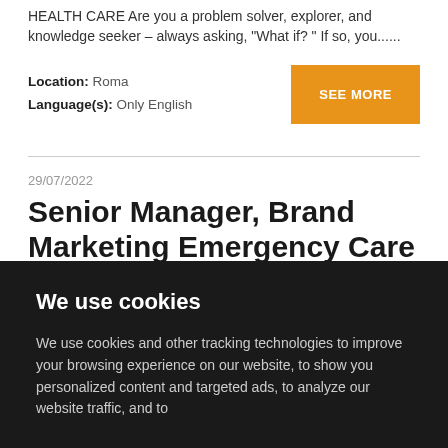HEALTH CARE Are you a problem solver, explorer, and knowledge seeker – always asking, "What if? " If so, you......
Location: Roma
Language(s): Only English
SEE MORE
29/07/2022
Senior Manager, Brand Marketing Emergency Care EMEA
Why join Stryker?We are proud to be named one the
We use cookies
We use cookies and other tracking technologies to improve your browsing experience on our website, to show you personalized content and targeted ads, to analyze our website traffic, and to